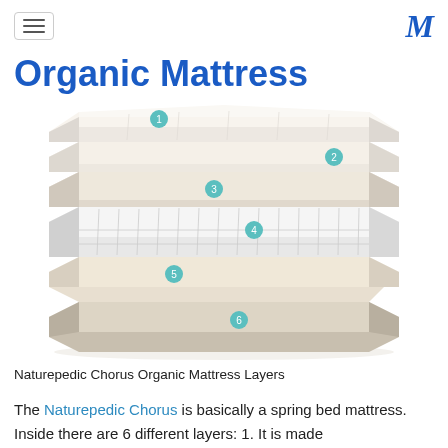[hamburger menu] [M logo]
Organic Mattress
[Figure (illustration): Exploded cross-section diagram of the Naturepedic Chorus Organic Mattress showing 6 labeled layers numbered 1 through 6 from top to bottom. Layer 1: top quilted comfort layer. Layer 2: secondary comfort layer. Layer 3: transition layer. Layer 4: coil spring support core. Layer 5: base foam layer. Layer 6: fabric-encased foundation/cover.]
Naturepedic Chorus Organic Mattress Layers
The Naturepedic Chorus is basically a spring bed mattress. Inside there are 6 different layers: 1. It is made